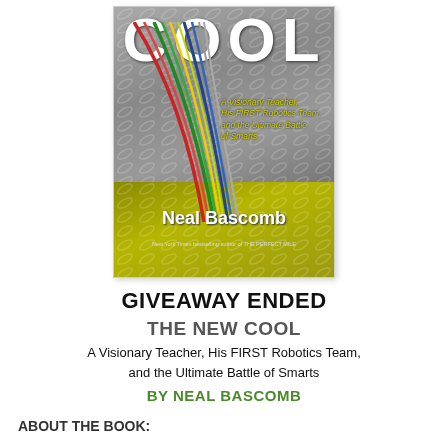[Figure (photo): Book cover of 'The New Cool' by Neal Bascomb. Shows a diamond plate metal background (gray on top, yellow-green on bottom) with colorful wires fanning out, and white lettering 'COOL' at top. Subtitle: A Visionary Teacher, His FIRST Robotics Team, and the Ultimate Battle of Smarts.]
GIVEAWAY ENDED
THE NEW COOL
A Visionary Teacher, His FIRST Robotics Team, and the Ultimate Battle of Smarts
BY NEAL BASCOMB
ABOUT THE BOOK: